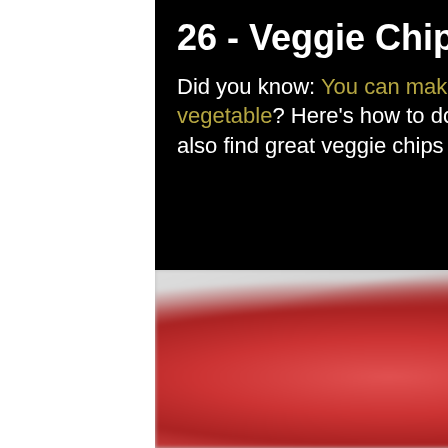26 - Veggie Chips
Did you know: You can make veggie chips out of nearly any kind of vegetable? Here's how to do it, but if you don't feel like DIYing it, you can also find great veggie chips at your local supermarket.
[Figure (photo): Close-up blurry photo of red veggie chips on a light grey background]